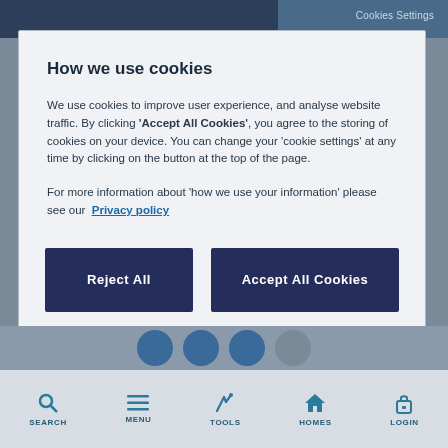How we use cookies
We use cookies to improve user experience, and analyse website traffic. By clicking 'Accept All Cookies', you agree to the storing of cookies on your device. You can change your 'cookie settings' at any time by clicking on the button at the top of the page.
For more information about 'how we use your information' please see our Privacy policy
Reject All
Accept All Cookies
Cookies Settings
SEARCH  MENU  TOOLS  HOMES  LOGIN